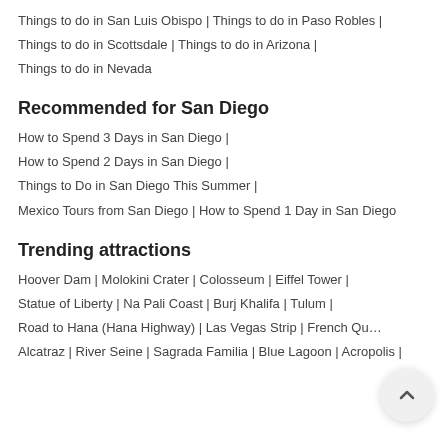Things to do in San Luis Obispo | Things to do in Paso Robles | Things to do in Scottsdale | Things to do in Arizona | Things to do in Nevada
Recommended for San Diego
How to Spend 3 Days in San Diego |
How to Spend 2 Days in San Diego |
Things to Do in San Diego This Summer |
Mexico Tours from San Diego | How to Spend 1 Day in San Diego
Trending attractions
Hoover Dam | Molokini Crater | Colosseum | Eiffel Tower | Statue of Liberty | Na Pali Coast | Burj Khalifa | Tulum | Road to Hana (Hana Highway) | Las Vegas Strip | French Qu…
Alcatraz | River Seine | Sagrada Familia | Blue Lagoon | Acropolis |